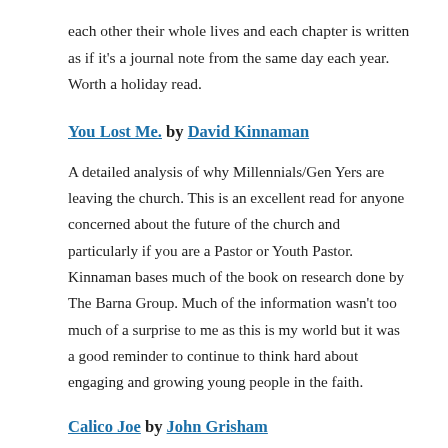each other their whole lives and each chapter is written as if it's a journal note from the same day each year. Worth a holiday read.
You Lost Me. by David Kinnaman
A detailed analysis of why Millennials/Gen Yers are leaving the church. This is an excellent read for anyone concerned about the future of the church and particularly if you are a Pastor or Youth Pastor. Kinnaman bases much of the book on research done by The Barna Group. Much of the information wasn't too much of a surprise to me as this is my world but it was a good reminder to continue to think hard about engaging and growing young people in the faith.
Calico Joe by John Grisham